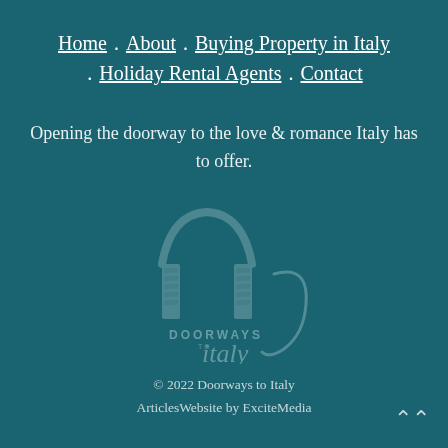Home . About . Buying Property in Italy . Holiday Rental Agents . Contact
Opening the doorway to the love & romance Italy has to offer.
[Figure (logo): Doorways to Italy logo — an archway illustration with the text 'DOORWAYS TO italy' in a teal/grey watermark style]
© 2022 Doorways to Italy
ArticlesWebsite by ExciteMedia